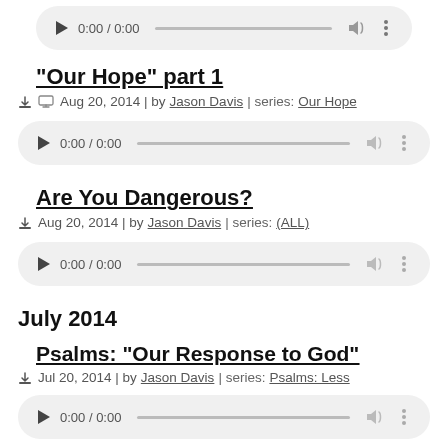[Figure (other): Audio player widget showing 0:00 / 0:00 (partially visible at top)]
“Our Hope” part 1
Aug 20, 2014 | by Jason Davis | series: Our Hope
[Figure (other): Audio player widget showing 0:00 / 0:00]
Are You Dangerous?
Aug 20, 2014 | by Jason Davis | series: (ALL)
[Figure (other): Audio player widget showing 0:00 / 0:00]
July 2014
Psalms: “Our Response to God”
Jul 20, 2014 | by Jason Davis | series: Psalms: Less
[Figure (other): Audio player widget (partially visible at bottom)]